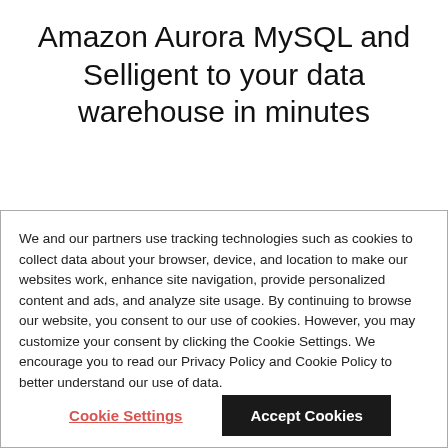Amazon Aurora MySQL and Selligent to your data warehouse in minutes
Stitch delivers all your data to the leading data
We and our partners use tracking technologies such as cookies to collect data about your browser, device, and location to make our websites work, enhance site navigation, provide personalized content and ads, and analyze site usage. By continuing to browse our website, you consent to our use of cookies. However, you may customize your consent by clicking the Cookie Settings. We encourage you to read our Privacy Policy and Cookie Policy to better understand our use of data.
Cookie Settings
Accept Cookies